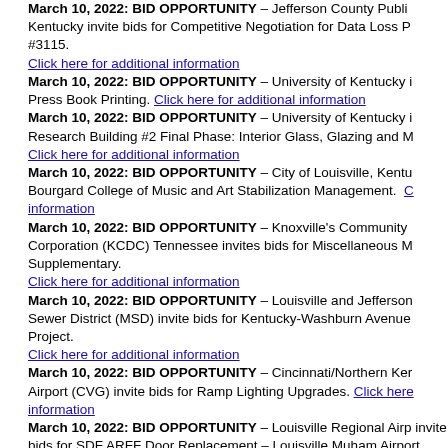March 10, 2022: BID OPPORTUNITY – Jefferson County Public Kentucky invite bids for Competitive Negotiation for Data Loss P #3115. Click here for additional information
March 10, 2022: BID OPPORTUNITY – University of Kentucky i Press Book Printing. Click here for additional information
March 10, 2022: BID OPPORTUNITY – University of Kentucky i Research Building #2 Final Phase: Interior Glass, Glazing and M Click here for additional information
March 10, 2022: BID OPPORTUNITY – City of Louisville, Kentu Bourgard College of Music and Art Stabilization Management. Click here for additional information
March 10, 2022: BID OPPORTUNITY – Knoxville's Community Corporation (KCDC) Tennessee invites bids for Miscellaneous M Supplementary. Click here for additional information
March 10, 2022: BID OPPORTUNITY – Louisville and Jefferson Sewer District (MSD) invite bids for Kentucky-Washburn Avenue Project. Click here for additional information
March 10, 2022: BID OPPORTUNITY – Cincinnati/Northern Ker Airport (CVG) invite bids for Ramp Lighting Upgrades. Click here information
March 10, 2022: BID OPPORTUNITY – Louisville Regional Airp invite bids for SDF ARFF Door Replacement – Louisville Muham Airport. Click here for additional information